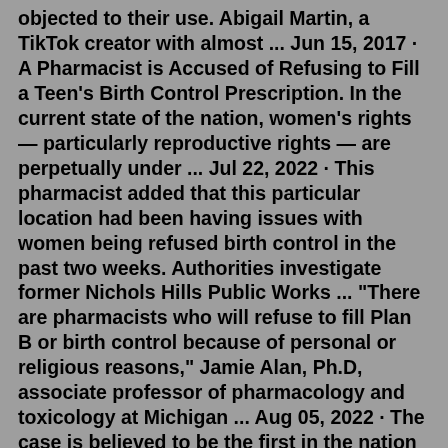objected to their use. Abigail Martin, a TikTok creator with almost ... Jun 15, 2017 · A Pharmacist is Accused of Refusing to Fill a Teen's Birth Control Prescription. In the current state of the nation, women's rights — particularly reproductive rights — are perpetually under ... Jul 22, 2022 · This pharmacist added that this particular location had been having issues with women being refused birth control in the past two weeks. Authorities investigate former Nichols Hills Public Works ... "There are pharmacists who will refuse to fill Plan B or birth control because of personal or religious reasons," Jamie Alan, Ph.D, associate professor of pharmacology and toxicology at Michigan ... Aug 05, 2022 · The case is believed to be the first in the nation to be brought to trial based on a claim of sex discrimination for refusing to dispense birth control. However, the jury ordered pharmacist George ... Jun 15, 2017 · A Pharmacist is Accused of Refusing to Fill a Teen's Birth Control Prescription. In the current